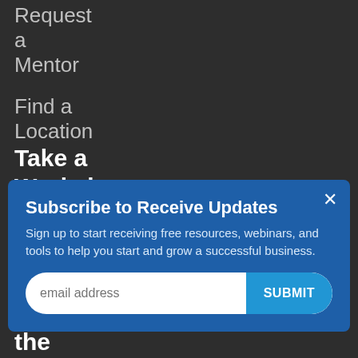Request a Mentor
Find a Location
Take a Workshop
Subscribe to Receive Updates
Sign up to start receiving free resources, webinars, and tools to help you start and grow a successful business.
Browse the